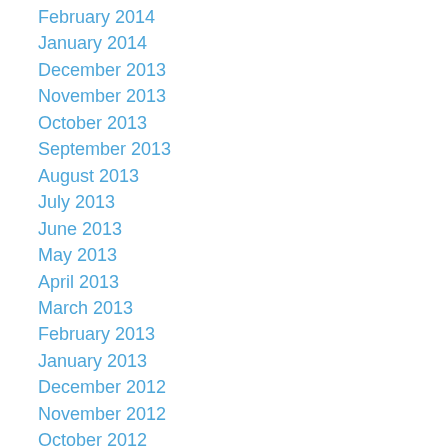February 2014
January 2014
December 2013
November 2013
October 2013
September 2013
August 2013
July 2013
June 2013
May 2013
April 2013
March 2013
February 2013
January 2013
December 2012
November 2012
October 2012
September 2012
August 2012
July 2012